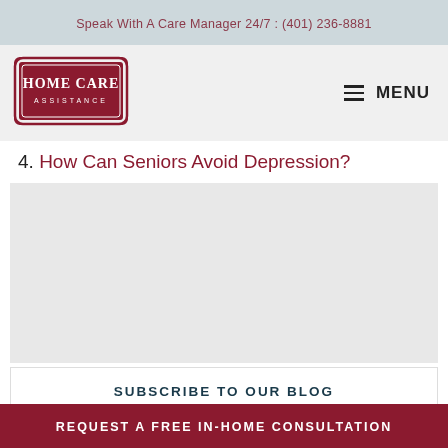Speak With A Care Manager 24/7: (401) 236-8881
[Figure (logo): Home Care Assistance logo — burgundy hexagonal/shield badge with text HOME CARE ASSISTANCE]
≡ MENU
4. How Can Seniors Avoid Depression?
[Figure (other): Light gray content area placeholder]
SUBSCRIBE TO OUR BLOG
EMAIL
[Figure (other): reCAPTCHA badge with blue arrow logo]
REQUEST A FREE IN-HOME CONSULTATION